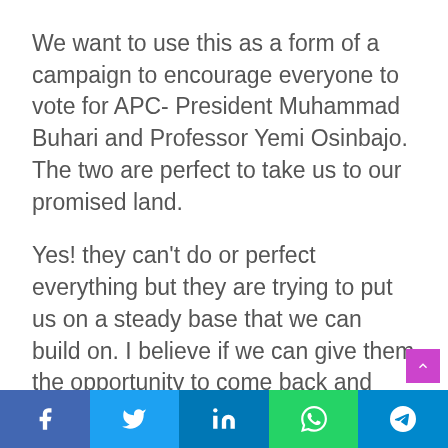We want to use this as a form of a campaign to encourage everyone to vote for APC- President Muhammad Buhari and Professor Yemi Osinbajo. The two are perfect to take us to our promised land.
Yes! they can't do or perfect everything but they are trying to put us on a steady base that we can build on. I believe if we can give them the opportunity to come back and finish what they have started